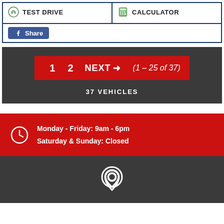| TEST DRIVE | CALCULATOR |
| --- | --- |
Share
1  2  NEXT →  (1 – 25 of 37)
37 VEHICLES
Monday - Friday: 9am - 6pm
Saturday & Sunday: Closed
[Figure (other): Location pin / map marker icon]